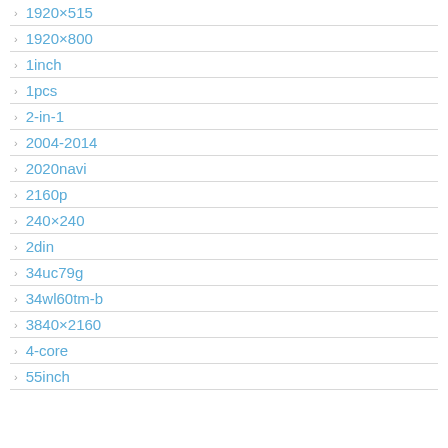1920×515
1920×800
1inch
1pcs
2-in-1
2004-2014
2020navi
2160p
240×240
2din
34uc79g
34wl60tm-b
3840×2160
4-core
55inch